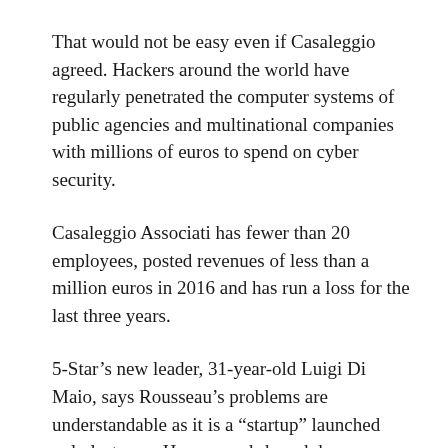That would not be easy even if Casaleggio agreed. Hackers around the world have regularly penetrated the computer systems of public agencies and multinational companies with millions of euros to spend on cyber security.
Casaleggio Associati has fewer than 20 employees, posted revenues of less than a million euros in 2016 and has run a loss for the last three years.
5-Star’s new leader, 31-year-old Luigi Di Maio, says Rousseau’s problems are understandable as it is a “startup” launched only last year. He says web-based democracy can work not only in 5-Star but in all branches of Italian politics.